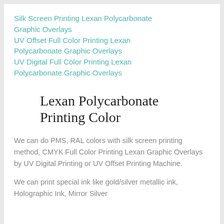Silk Screen Printing Lexan Polycarbonate Graphic Overlays
UV Offset Full Color Printing Lexan Polycarbonate Graphic Overlays
UV Digital Full Color Printing Lexan Polycarbonate Graphic Overlays
Lexan Polycarbonate Printing Color
We can do PMS, RAL colors with silk screen printing method, CMYK Full Color Printing Lexan Graphic Overlays by UV Digital Printing or UV Offset Printing Machine.
We can print special ink like gold/silver metallic ink, Holographic Ink, Mirror Silver